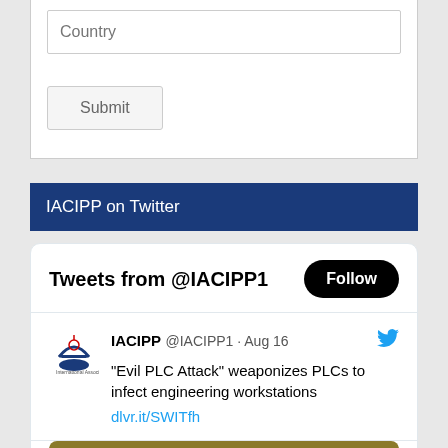[Figure (screenshot): Form input field labeled 'Country' with a text input box]
[Figure (screenshot): Submit button with light gray background and border]
IACIPP on Twitter
[Figure (screenshot): Twitter widget showing tweets from @IACIPP1 with a Follow button and a tweet about 'Evil PLC Attack' weaponizing PLCs to infect engineering workstations, with link dlvr.it/SWITfh and a preview image]